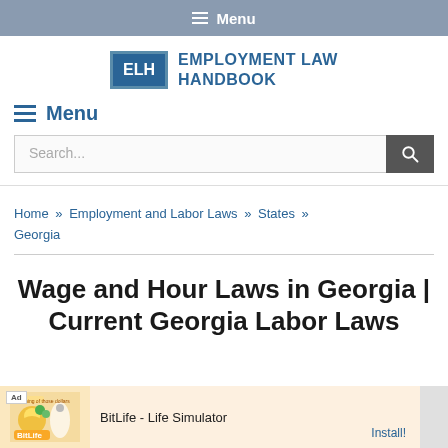Menu
[Figure (logo): ELH Employment Law Handbook logo]
Menu
Search...
Home » Employment and Labor Laws » States » Georgia
Wage and Hour Laws in Georgia | Current Georgia Labor Laws
[Figure (other): BitLife - Life Simulator advertisement banner]